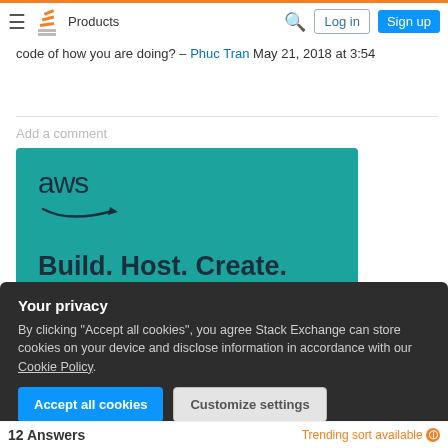≡ [Stack Overflow logo] Products 🔍 Log in Sign up
code of how you are doing? – Phuc Tran May 21, 2018 at 3:54
Add a comment
[Figure (infographic): AWS advertisement with teal background showing AWS logo, text 'Build. Host. Create.' and 'Get started for free ›']
Your privacy
By clicking "Accept all cookies", you agree Stack Exchange can store cookies on your device and disclose information in accordance with our Cookie Policy.
[Accept all cookies] [Customize settings]
12 Answers
Trending sort available 🔵